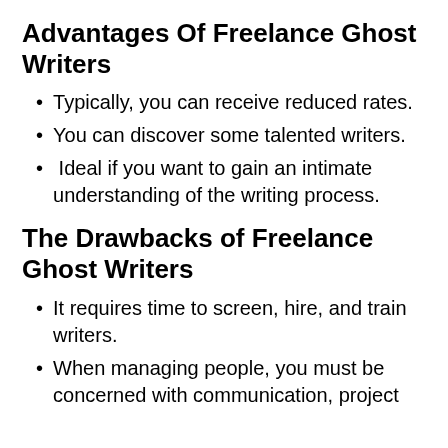Advantages Of Freelance Ghost Writers
Typically, you can receive reduced rates.
You can discover some talented writers.
Ideal if you want to gain an intimate understanding of the writing process.
The Drawbacks of Freelance Ghost Writers
It requires time to screen, hire, and train writers.
When managing people, you must be concerned with communication, project